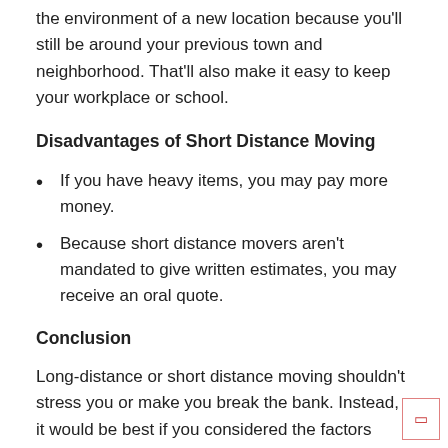the environment of a new location because you'll still be around your previous town and neighborhood. That'll also make it easy to keep your workplace or school.
Disadvantages of Short Distance Moving
If you have heavy items, you may pay more money.
Because short distance movers aren't mandated to give written estimates, you may receive an oral quote.
Conclusion
Long-distance or short distance moving shouldn't stress you or make you break the bank. Instead, it would be best if you considered the factors contributing to your move before deciding to opt for either choice.